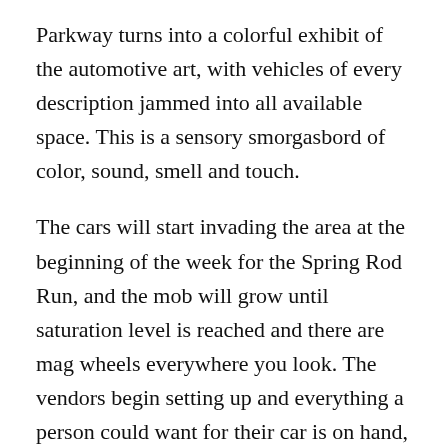Parkway turns into a colorful exhibit of the automotive art, with vehicles of every description jammed into all available space. This is a sensory smorgasbord of color, sound, smell and touch.
The cars will start invading the area at the beginning of the week for the Spring Rod Run, and the mob will grow until saturation level is reached and there are mag wheels everywhere you look. The vendors begin setting up and everything a person could want for their car is on hand, as well as a lot of great food and barbecue. By the weekend it's going full blast and you will be swept away.
Red Roof Mall, right on the main drag, partners with the Marines to raise Toys for Tots funding. They do this by selling prime display space in the mall parking. If you are bringing a car to the event, this is a great way to